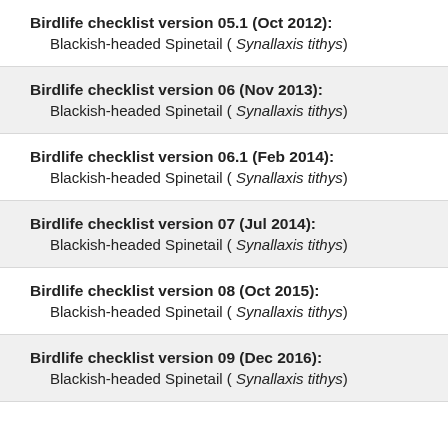Birdlife checklist version 05.1 (Oct 2012): Blackish-headed Spinetail ( Synallaxis tithys)
Birdlife checklist version 06 (Nov 2013): Blackish-headed Spinetail ( Synallaxis tithys)
Birdlife checklist version 06.1 (Feb 2014): Blackish-headed Spinetail ( Synallaxis tithys)
Birdlife checklist version 07 (Jul 2014): Blackish-headed Spinetail ( Synallaxis tithys)
Birdlife checklist version 08 (Oct 2015): Blackish-headed Spinetail ( Synallaxis tithys)
Birdlife checklist version 09 (Dec 2016): Blackish-headed Spinetail ( Synallaxis tithys)